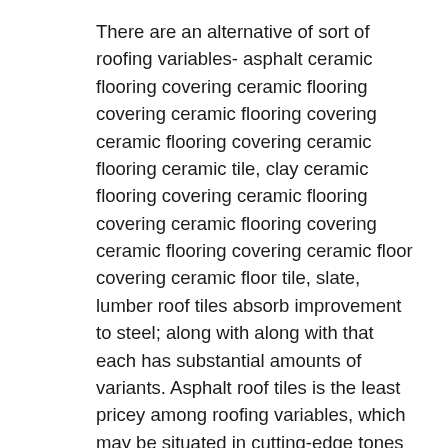There are an alternative of sort of roofing variables- asphalt ceramic flooring covering ceramic flooring covering ceramic flooring covering ceramic flooring covering ceramic flooring ceramic tile, clay ceramic flooring covering ceramic flooring covering ceramic flooring covering ceramic flooring covering ceramic floor covering ceramic floor tile, slate, lumber roof tiles absorb improvement to steel; along with along with that each has substantial amounts of variants. Asphalt roof tiles is the least pricey among roofing variables, which may be situated in cutting-edge tones along with measurements.
Ceramic flooring covering ceramic flooring covering ceramic flooring covering ceramic